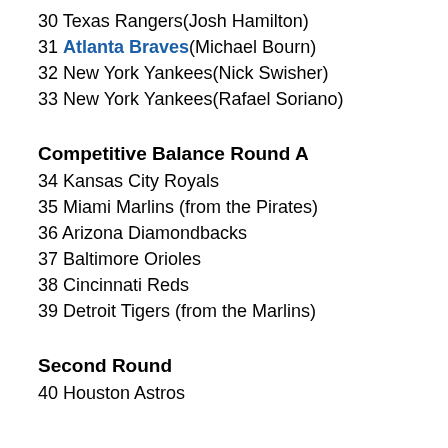30 Texas Rangers(Josh Hamilton)
31 Atlanta Braves(Michael Bourn)
32 New York Yankees(Nick Swisher)
33 New York Yankees(Rafael Soriano)
Competitive Balance Round A
34 Kansas City Royals
35 Miami Marlins (from the Pirates)
36 Arizona Diamondbacks
37 Baltimore Orioles
38 Cincinnati Reds
39 Detroit Tigers (from the Marlins)
Second Round
40 Houston Astros